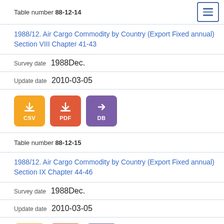Table number 88-12-14
1988/12. Air Cargo Commodity by Country (Export Fixed annual) Section VIII Chapter 41-43
Survey date  1988Dec.
Update date  2010-03-05
[Figure (other): Download buttons: CSV (orange), PDF (red-orange), DB (purple)]
Table number 88-12-15
1988/12. Air Cargo Commodity by Country (Export Fixed annual) Section IX Chapter 44-46
Survey date  1988Dec.
Update date  2010-03-05
[Figure (other): Download buttons: CSV (orange), PDF (red-orange), DB (purple) - partially visible]